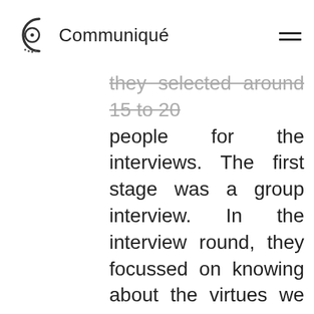Communiqué
they selected around 15 to 20 people for the interviews. The first stage was a group interview. In the interview round, they focussed on knowing about the virtues we have rather than asking us about the technical details of our projects. In this round, we were three people who were made to sit together for the interview but we had one-on-one conversations with the panel of interviewers. They asked us questions to know how well we can communicate about